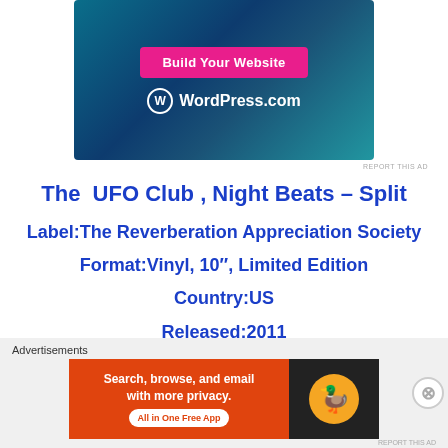[Figure (other): WordPress.com advertisement banner with pink 'Build Your Website' button and WordPress logo on dark blue/teal gradient background]
The  UFO Club , Night Beats – Split
Label:The Reverberation Appreciation Society
Format:Vinyl, 10″, Limited Edition
Country:US
Released:2011
Tracklist
[Figure (other): DuckDuckGo advertisement banner: orange background with text 'Search, browse, and email with more privacy. All in One Free App' and DuckDuckGo duck logo on dark background]